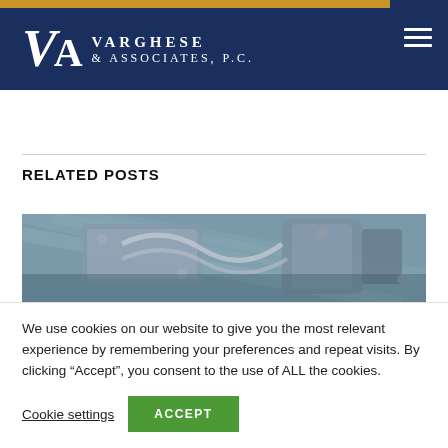[Figure (logo): Varghese & Associates P.C. law firm logo: stylized VA monogram in white on navy background with firm name text]
RELATED POSTS
[Figure (photo): Close-up photograph of metallic industrial machinery or electronic components]
We use cookies on our website to give you the most relevant experience by remembering your preferences and repeat visits. By clicking “Accept”, you consent to the use of ALL the cookies.
Cookie settings  ACCEPT